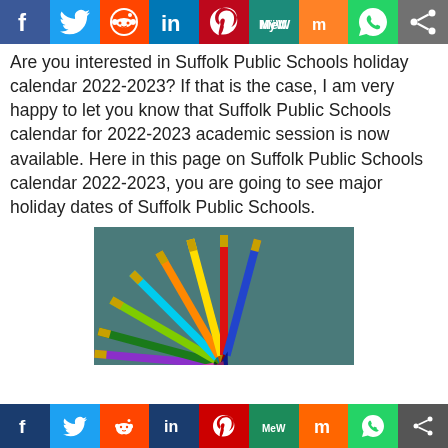[Figure (infographic): Row of colorful social media sharing icons at the top: Facebook (blue), Twitter (blue), Reddit (orange-red), LinkedIn (blue), Pinterest (dark red), MeWe (teal), Mix (orange), WhatsApp (green), Share (gray)]
Are you interested in Suffolk Public Schools holiday calendar 2022-2023? If that is the case, I am very happy to let you know that Suffolk Public Schools calendar for 2022-2023 academic session is now available. Here in this page on Suffolk Public Schools calendar 2022-2023, you are going to see major holiday dates of Suffolk Public Schools.
[Figure (photo): Colorful pencils fanned out in a circle on a teal/gray background, viewed from above showing tips meeting at bottom center. Colors include purple, green, light green, cyan, orange, yellow, red, blue and more.]
[Figure (infographic): Row of colorful social media sharing icons at the bottom: Facebook (dark blue), Twitter (blue), Reddit (orange-red), LinkedIn (dark blue), Pinterest (red), MeWe (teal-green), Mix (orange), WhatsApp (green), Share (gray)]